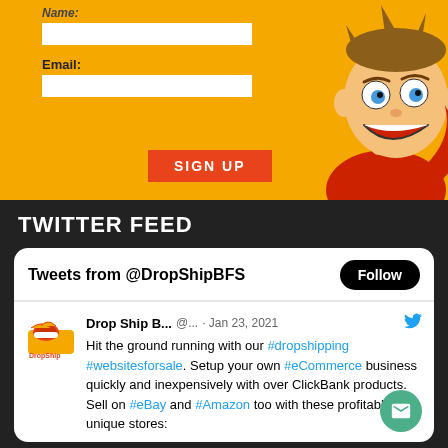[Figure (illustration): Yellow signup form section with email label, text input boxes, a SIGN UP button, and a cartoon male character on the right]
TWITTER FEED
Tweets from @DropShipBFS
Drop Ship B... @... · Jan 23, 2021 Hit the ground running with our #dropshipping #websitesforsale. Setup your own #eCommerce business quickly and inexpensively with over ClickBank products. Sell on #eBay and #Amazon too with these profitable and unique stores: